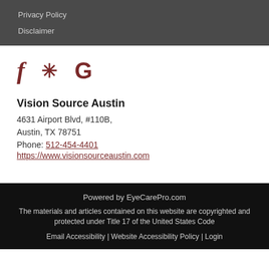Privacy Policy
Disclaimer
[Figure (other): Social media icons: Facebook (f), Yelp (asterisk/flower), Google (G) in dark red color]
Vision Source Austin
4631 Airport Blvd, #110B,
Austin, TX 78751
Phone: 512-454-4401
https://www.visionsourceaustin.com
Powered by EyeCarePro.com
The materials and articles contained on this website are copyrighted and protected under Title 17 of the United States Code
Email Accessibility | Website Accessibility Policy | Login